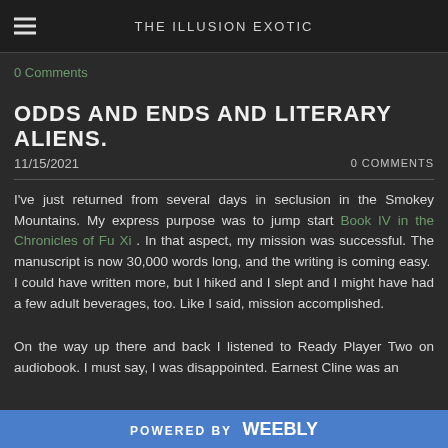THE ILLUSION EXOTIC
0 Comments
ODDS AND ENDS AND LITERARY ALIENS.
11/15/2021    0 COMMENTS
I've just returned from several days in seclusion in the Smokey Mountains. My express purpose was to jump start Book IV in the Chronicles of Fu Xi . In that aspect, my mission was successful. The manuscript is now 30,000 words long, and the writing is coming easy.  I could have written more, but I hiked and I slept and I might have had a few adult beverages, too. Like I said, mission accomplished.
On the way up there and back I listened to Ready Player Two on audiobook. I must say, I was disappointed. Earnest Cline was an
POWERED BY Weebly